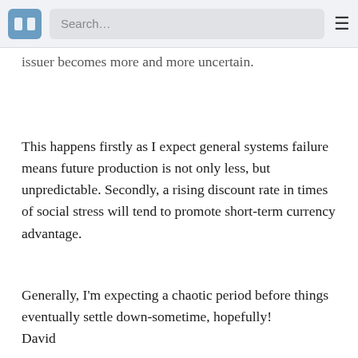Search…
issuer becomes more and more uncertain.
This happens firstly as I expect general systems failure means future production is not only less, but unpredictable. Secondly, a rising discount rate in times of social stress will tend to promote short-term currency advantage.
Generally, I'm expecting a chaotic period before things eventually settle down-sometime, hopefully!
David